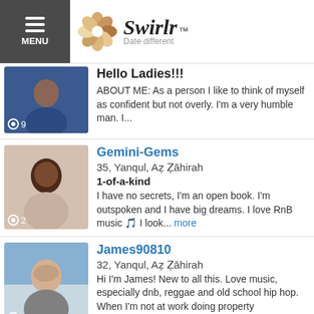MENU | Swirlr™ Date different
Hello Ladies!!! ABOUT ME: As a person I like to think of myself as confident but not overly. I'm a very humble man. I...
Gemini-Gems | 35, Yanqul, Aẓ Ẓāhirah | 1-of-a-kind | I have no secrets, I'm an open book. I'm outspoken and I have big dreams. I love RnB music 🎵 I look... more
James90810 | 32, Yanqul, Aẓ Ẓāhirah | Hi I'm James! New to all this. Love music, especially dnb, reggae and old school hip hop. When I'm not at work doing property maintenance I like going for a
AsiaMarii | 34, Yanqul, Aẓ Ẓāhirah | Sweet & Petite | I'm in to music. I write music. I also sing rap, dance and